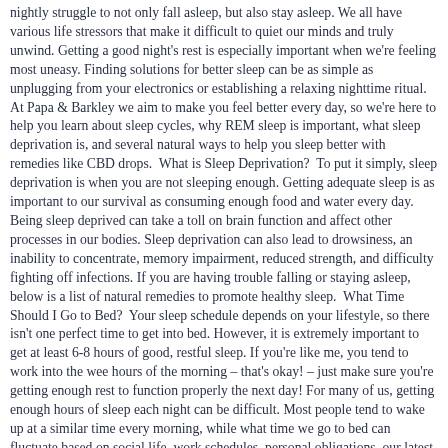nightly struggle to not only fall asleep, but also stay asleep. We all have various life stressors that make it difficult to quiet our minds and truly unwind. Getting a good night's rest is especially important when we're feeling most uneasy. Finding solutions for better sleep can be as simple as unplugging from your electronics or establishing a relaxing nighttime ritual. At Papa & Barkley we aim to make you feel better every day, so we're here to help you learn about sleep cycles, why REM sleep is important, what sleep deprivation is, and several natural ways to help you sleep better with remedies like CBD drops. What is Sleep Deprivation? To put it simply, sleep deprivation is when you are not sleeping enough. Getting adequate sleep is as important to our survival as consuming enough food and water every day. Being sleep deprived can take a toll on brain function and affect other processes in our bodies. Sleep deprivation can also lead to drowsiness, an inability to concentrate, memory impairment, reduced strength, and difficulty fighting off infections. If you are having trouble falling or staying asleep, below is a list of natural remedies to promote healthy sleep. What Time Should I Go to Bed? Your sleep schedule depends on your lifestyle, so there isn't one perfect time to get into bed. However, it is extremely important to get at least 6-8 hours of good, restful sleep. If you're like me, you tend to work into the wee hours of the morning – that's okay! – just make sure you're getting enough rest to function properly the next day! For many of us, getting enough hours of sleep each night can be difficult. Most people tend to wake up at a similar time every morning, while what time we go to bed can fluctuate based on social life, work schedules, personal obligations, our latest Netflix binge (Schitt's Creek, anyone?), and stress. Developing a consistent